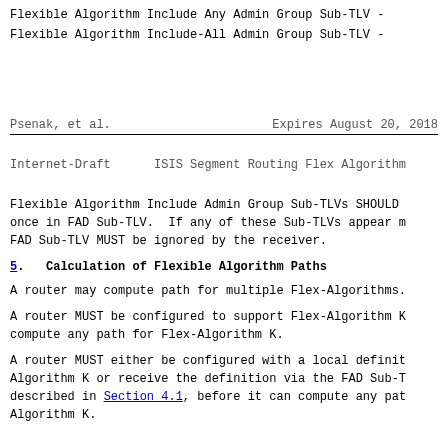Flexible Algorithm Include Any Admin Group Sub-TLV -
Flexible Algorithm Include-All Admin Group Sub-TLV -
Psenak, et al.                Expires August 20, 2018
Internet-Draft      ISIS Segment Routing Flex Algorithm
Flexible Algorithm Include Admin Group Sub-TLVs SHOULD once in FAD Sub-TLV.  If any of these Sub-TLVs appear m FAD Sub-TLV MUST be ignored by the receiver.
5.   Calculation of Flexible Algorithm Paths
A router may compute path for multiple Flex-Algorithms.
A router MUST be configured to support Flex-Algorithm K compute any path for Flex-Algorithm K.
A router MUST either be configured with a local definit Algorithm K or receive the definition via the FAD Sub-T described in Section 4.1, before it can compute any pat Algorithm K.